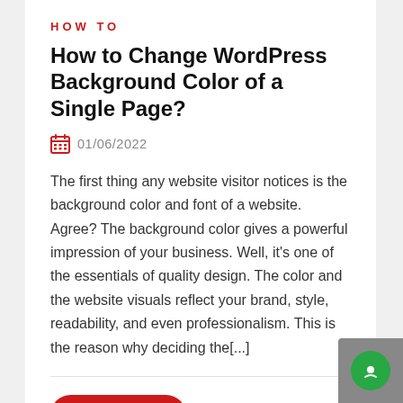HOW TO
How to Change WordPress Background Color of a Single Page?
01/06/2022
The first thing any website visitor notices is the background color and font of a website. Agree? The background color gives a powerful impression of your business. Well, it's one of the essentials of quality design. The color and the website visuals reflect your brand, style, readability, and even professionalism. This is the reason why deciding the[...]
Read More